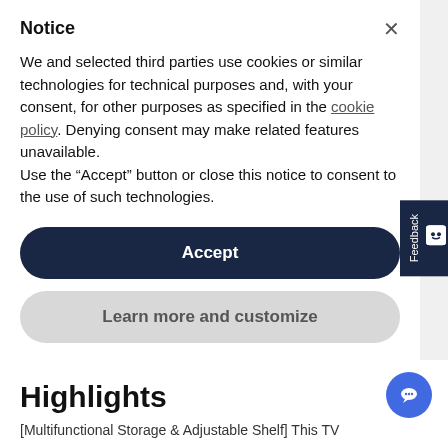Notice
We and selected third parties use cookies or similar technologies for technical purposes and, with your consent, for other purposes as specified in the cookie policy. Denying consent may make related features unavailable.
Use the “Accept” button or close this notice to consent to the use of such technologies.
Accept
Learn more and customize
Highlights
[Multifunctional Storage & Adjustable Shelf] This TV